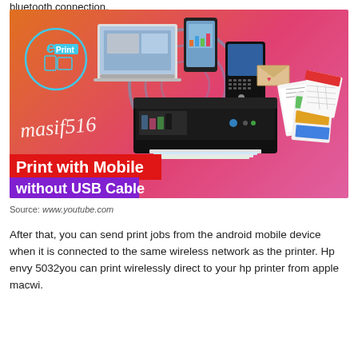bluetooth connection.
[Figure (illustration): Promotional image showing wireless printing from mobile devices to an HP printer. Text overlays read 'masif516', 'Print with Mobile' (red banner), 'without USB Cable' (purple banner). ePrint logo visible top left. Background gradient orange to pink.]
Source: www.youtube.com
After that, you can send print jobs from the android mobile device when it is connected to the same wireless network as the printer. Hp envy 5032you can print wirelessly direct to your hp printer from apple macwi.